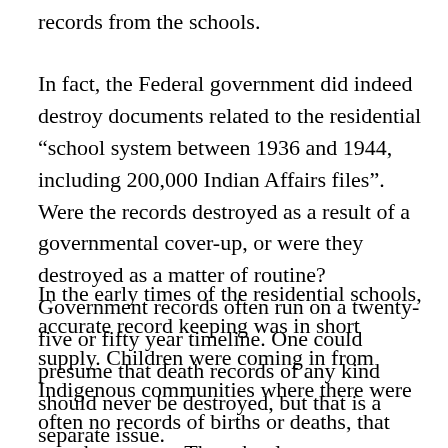records from the schools.
In fact, the Federal government did indeed destroy documents related to the residential “school system between 1936 and 1944, including 200,000 Indian Affairs files”. Were the records destroyed as a result of a governmental cover-up, or were they destroyed as a matter of routine?  Government records often run on a twenty-five or fifty year timeline. One could presume that death records of any kind should never be destroyed, but that is a separate issue.
In the early times of the residential schools, accurate record keeping was in short supply. Children were coming in from Indigenous communities where there were often no records of births or deaths, that was the custom. The schools upon receiving these children, were also seemingly sparse with their documentation when compared to standards of the